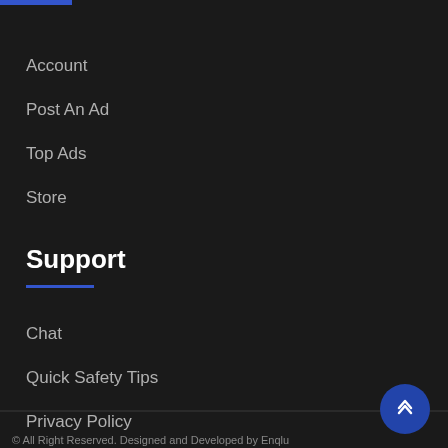Account
Post An Ad
Top Ads
Store
Support
Chat
Quick Safety Tips
Privacy Policy
© All Right Reserved. Designed and Developed by Enqlu